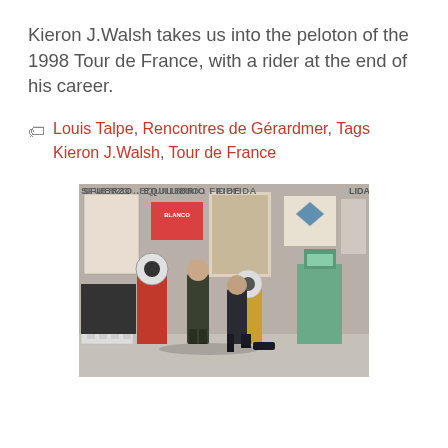Kieron J.Walsh takes us into the peloton of the 1998 Tour de France, with a rider at the end of his career.
Louis Talpe, Rencontres de Gérardmer, Tags Kieron J.Walsh, Tour de France
[Figure (photo): Two men in suits walking in a room with vintage weighing machines and posters on the wall reading SFUERZO, EQUILIBRIO, FIDELIDA]